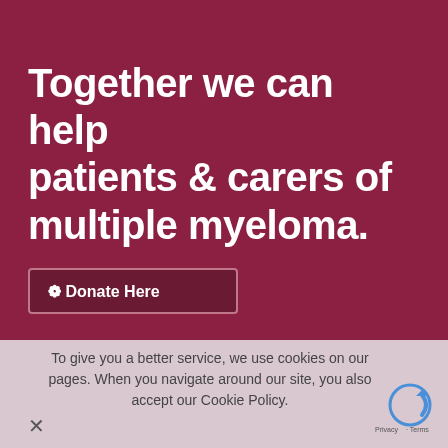Together we can help patients & carers of multiple myeloma.
Donate Here
To give you a better service, we use cookies on our pages. When you navigate around our site, you also accept our Cookie Policy.